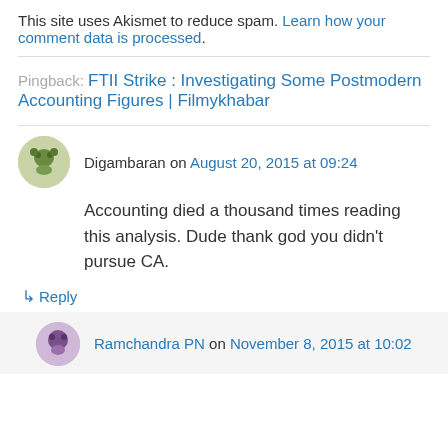This site uses Akismet to reduce spam. Learn how your comment data is processed.
Pingback: FTII Strike : Investigating Some Postmodern Accounting Figures | Filmykhabar
Digambaran on August 20, 2015 at 09:24
Accounting died a thousand times reading this analysis. Dude thank god you didn't pursue CA.
↳ Reply
Ramchandara PN on November 8, 2015 at 10:02